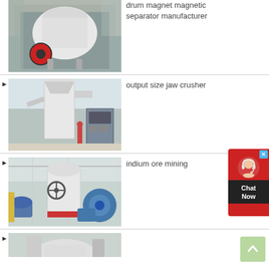[Figure (photo): Industrial crushing/grinding machine (cone crusher) in a factory setting, white body with red flywheel]
drum magnet magnetic separator manufacturer
[Figure (photo): Large industrial grinding mill equipment with control panel in factory]
output size jaw crusher
[Figure (photo): Industrial mill/grinding machine with blue fan components in warehouse]
indium ore mining
[Figure (photo): Partial view of industrial equipment, bottom of page]